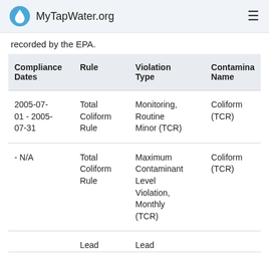MyTapWater.org
recorded by the EPA.
| Compliance Dates | Rule | Violation Type | Contamina Name |
| --- | --- | --- | --- |
| 2005-07-01 - 2005-07-31 | Total Coliform Rule | Monitoring, Routine Minor (TCR) | Coliform (TCR) |
| - N/A | Total Coliform Rule | Maximum Contaminant Level Violation, Monthly (TCR) | Coliform (TCR) |
| 2010-12-... | Lead ... | Lead ... | ... |